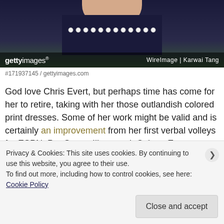[Figure (photo): Getty Images photo of a woman in a dark dress with pearl/jewel necklace. Credit: WireImage | Karwai Tang]
#171937145 / gettyimages.com
God love Chris Evert, but perhaps time has come for her to retire, taking with her those outlandish colored print dresses. Some of her work might be valid and is certainly an improvement from her first verbal volleys for ESPN. Per Sports Illustrated, Colette Evert, Chrissie’s mother, taught her never to speak badly of anyone.
Privacy & Cookies: This site uses cookies. By continuing to use this website, you agree to their use.
To find out more, including how to control cookies, see here: Cookie Policy